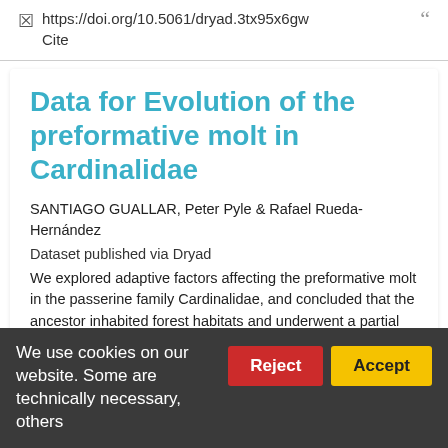https://doi.org/10.5061/dryad.3tx95x6gw  Cite
Data for Evolution of the preformative molt in Cardinalidae
SANTIAGO GUALLAR, Peter Pyle & Rafael Rueda-Hernández
Dataset published via Dryad
We explored adaptive factors affecting the preformative molt in the passerine family Cardinalidae, and concluded that the ancestor inhabited forest habitats and underwent a partial preformative molt that included wing coverts but not primaries. Later radiations within the family appeared to be characterized by transitions from forests toward
We use cookies on our website. Some are technically necessary, others
Reject
Accept